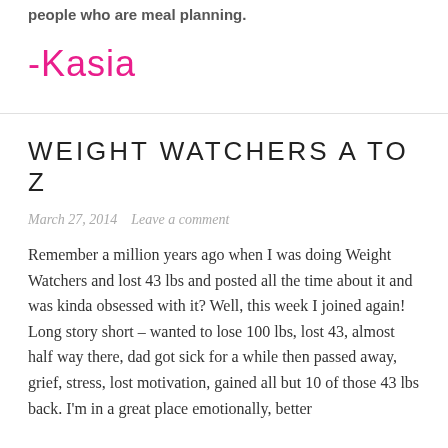people who are meal planning.
-Kasia
WEIGHT WATCHERS A TO Z
March 27, 2014   Leave a comment
Remember a million years ago when I was doing Weight Watchers and lost 43 lbs and posted all the time about it and was kinda obsessed with it? Well, this week I joined again! Long story short – wanted to lose 100 lbs, lost 43, almost half way there, dad got sick for a while then passed away, grief, stress, lost motivation, gained all but 10 of those 43 lbs back. I'm in a great place emotionally, better